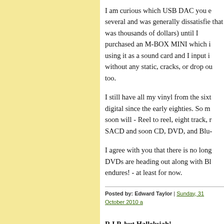I am curious which USB DAC you e several and was generally dissatisfie that was thousands of dollars) until I purchased an M-BOX MINI which i using it as a sound card and I input i without any static, cracks, or drop ou too.
I still have all my vinyl from the sixt digital since the early eighties. So m soon will - Reel to reel, eight track, r SACD and soon CD, DVD, and Blu-
I agree with you that there is no long DVDs are heading out along with Bl endures! - at least for now.
Posted by: Edward Taylor | Sunday, 31 October 2010 a
R I P, but Hallelujah!